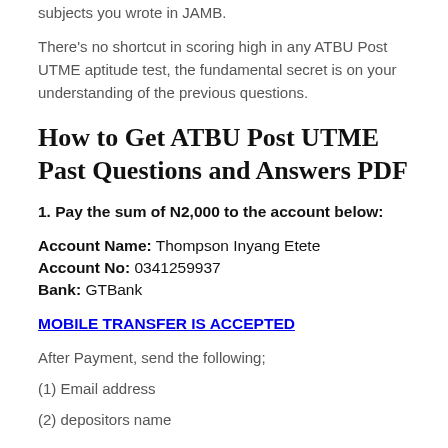subjects you wrote in JAMB.
There's no shortcut in scoring high in any ATBU Post UTME aptitude test, the fundamental secret is on your understanding of the previous questions.
How to Get ATBU Post UTME Past Questions and Answers PDF
1. Pay the sum of N2,000 to the account below:
Account Name: Thompson Inyang Etete
Account No: 0341259937
Bank: GTBank
MOBILE TRANSFER IS ACCEPTED
After Payment, send the following;
(1) Email address
(2) depositors name